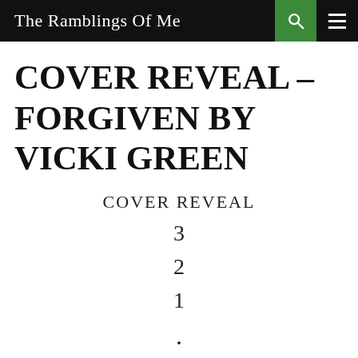The Ramblings Of Me
COVER REVEAL – FORGIVEN BY VICKI GREEN
COVER REVEAL
3
2
1
.
.
.